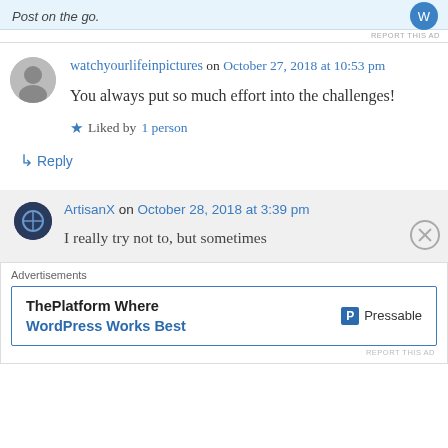[Figure (screenshot): Top ad banner with 'Post on the go.' text and blue circular icon, with REPORT THIS AD label]
watchyourlifeinpictures on October 27, 2018 at 10:53 pm
You always put so much effort into the challenges!
Liked by 1 person
Reply
ArtisanX on October 28, 2018 at 3:39 pm
I really try not to, but sometimes
[Figure (screenshot): Advertisements overlay: ThePlatform Where WordPress Works Best - Pressable ad]